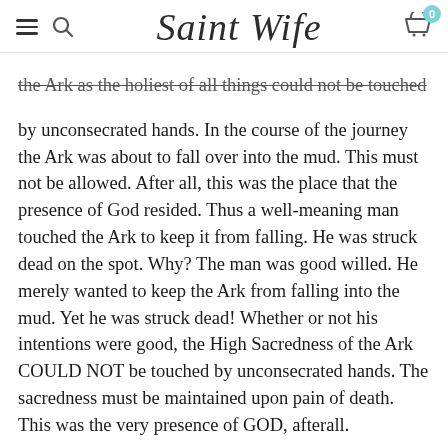Saint Wife
the Ark as the holiest of all things could not be touched by unconsecrated hands. In the course of the journey the Ark was about to fall over into the mud. This must not be allowed. After all, this was the place that the presence of God resided. Thus a well-meaning man touched the Ark to keep it from falling. He was struck dead on the spot. Why? The man was good willed. He merely wanted to keep the Ark from falling into the mud. Yet he was struck dead! Whether or not his intentions were good, the High Sacredness of the Ark COULD NOT be touched by unconsecrated hands. The sacredness must be maintained upon pain of death. This was the very presence of GOD, afterall.
Now with these examples, one more fact about that which is sacred. Once something is made sacred it can normally never again be returned to profane (non-sacred) use. If a